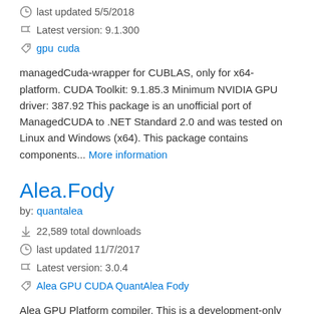last updated 5/5/2018
Latest version: 9.1.300
gpu cuda
managedCuda-wrapper for CUBLAS, only for x64-platform. CUDA Toolkit: 9.1.85.3 Minimum NVIDIA GPU driver: 387.92 This package is an unofficial port of ManagedCUDA to .NET Standard 2.0 and was tested on Linux and Windows (x64). This package contains components... More information
Alea.Fody
by: quantalea
22,589 total downloads
last updated 11/7/2017
Latest version: 3.0.4
Alea GPU CUDA QuantAlea Fody
Alea GPU Platform compiler. This is a development-only dependency.